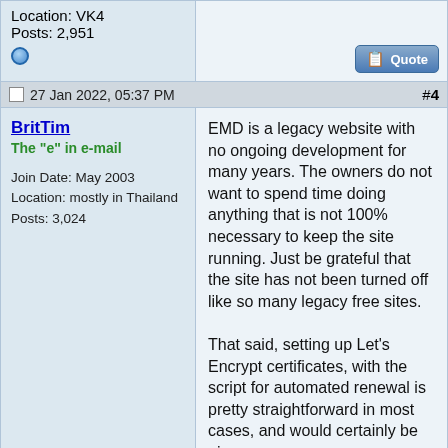Location: VK4
Posts: 2,951
27 Jan 2022, 05:37 PM  #4
BritTim
The "e" in e-mail
Join Date: May 2003
Location: mostly in Thailand
Posts: 3,024
EMD is a legacy website with no ongoing development for many years. The owners do not want to spend time doing anything that is not 100% necessary to keep the site running. Just be grateful that the site has not been turned off like so many legacy free sites.

That said, setting up Let's Encrypt certificates, with the script for automated renewal is pretty straightforward in most cases, and would certainly be nice.